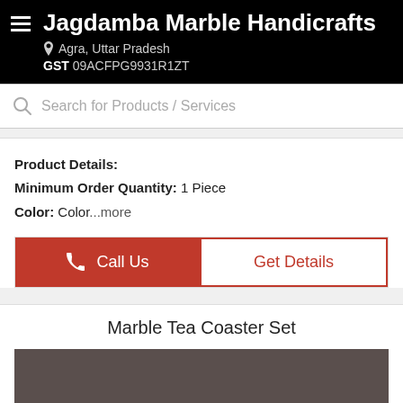Jagdamba Marble Handicrafts
Agra, Uttar Pradesh
GST 09ACFPG9931R1ZT
Search for Products / Services
Product Details:
Minimum Order Quantity: 1 Piece
Color: Color...more
Call Us
Get Details
Marble Tea Coaster Set
[Figure (photo): Dark brownish-grey placeholder image area for Marble Tea Coaster Set product photo]